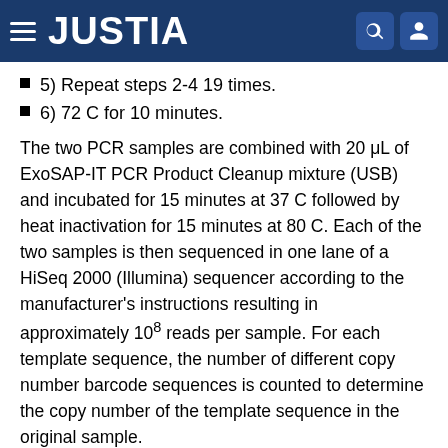JUSTIA
5) Repeat steps 2-4 19 times.
6) 72 C for 10 minutes.
The two PCR samples are combined with 20 μL of ExoSAP-IT PCR Product Cleanup mixture (USB) and incubated for 15 minutes at 37 C followed by heat inactivation for 15 minutes at 80 C. Each of the two samples is then sequenced in one lane of a HiSeq 2000 (Illumina) sequencer according to the manufacturer's instructions resulting in approximately 10^8 reads per sample. For each template sequence, the number of different copy number barcode sequences is counted to determine the copy number of the template sequence in the original sample.
Example III